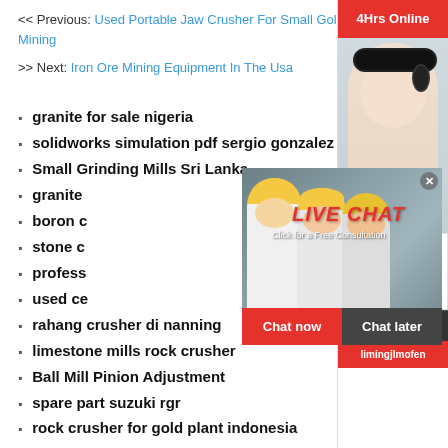<< Previous: Used Portable Jaw Crusher For Small Gold Mining
>> Next: Iron Ore Mining Equipment In The Usa
granite for sale nigeria
solidworks simulation pdf sergio gonzalez
Small Grinding Mills Sri Lanka
granite [partially hidden]
boron c[partially hidden]
stone c[partially hidden]
profess[partially hidden]
used ce[partially hidden]
rahang crusher di nanning
limestone mills rock crusher
Ball Mill Pinion Adjustment
spare part suzuki rgr
rock crusher for gold plant indonesia
sand blasting equipment usa
www stone crusher in bljem china
[Figure (screenshot): Live chat overlay with worker photo background, red LIVE CHAT text, Click for a Free Consultation subtitle, Chat now and Chat later buttons]
[Figure (screenshot): Right sidebar with 24Hrs Online red banner, need questions & suggestion chat now button, Enquiry section, limingjlmofen brand]